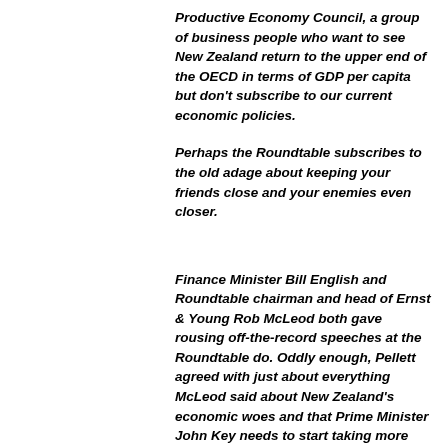Productive Economy Council, a group of business people who want to see New Zealand return to the upper end of the OECD in terms of GDP per capita but don't subscribe to our current economic policies.
Perhaps the Roundtable subscribes to the old adage about keeping your friends close and your enemies even closer.
Finance Minister Bill English and Roundtable chairman and head of Ernst & Young Rob McLeod both gave rousing off-the-record speeches at the Roundtable do. Oddly enough, Pellett agreed with just about everything McLeod said about New Zealand's economic woes and that Prime Minister John Key needs to start taking more